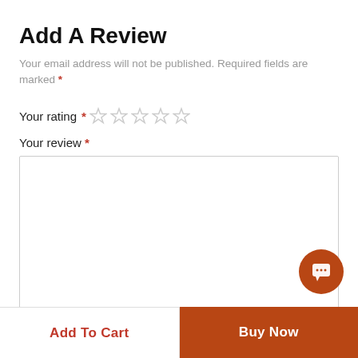Add A Review
Your email address will not be published. Required fields are marked *
Your rating *
Your review *
[Figure (screenshot): Empty text area for review input with a border]
[Figure (other): Orange circular chat button with speech bubble icon]
Add To Cart
Buy Now